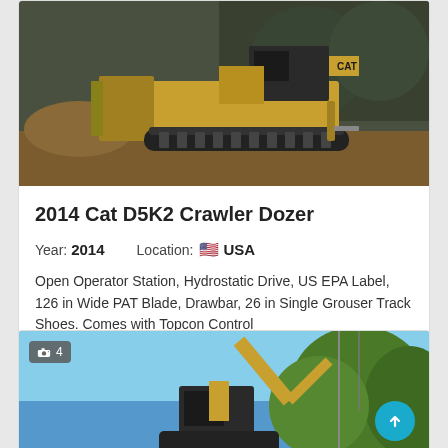[Figure (photo): Yellow CAT D5K2 crawler dozer on dirt/construction site, side view showing blade and tracks]
2014 Cat D5K2 Crawler Dozer
Year: 2014    Location: USA
Open Operator Station, Hydrostatic Drive, US EPA Label, 126 in Wide PAT Blade, Drawbar, 26 in Single Grouser Track Shoes. Comes with Topcon Control
Price on request
[Figure (photo): Yellow CAT mini excavator against blue sky and green trees, with photo count badge showing 4 photos]